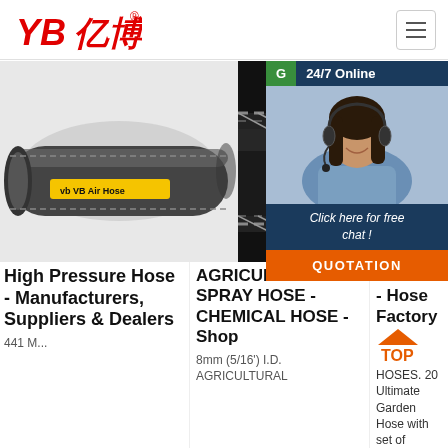[Figure (logo): YB亿博 logo in red italic text with registered trademark symbol]
[Figure (photo): Grey rubber high pressure hose coil with yellow label reading 'VB Air Hose']
[Figure (photo): Close-up of black braided agricultural/chemical hose]
[Figure (photo): Customer service representative with headset, smiling, with 24/7 Online chat widget overlay]
High Pressure Hose - Manufacturers, Suppliers & Dealers
AGRICULTURAL SPRAY HOSE - CHEMICAL HOSE - Shop
8mm (5/16') I.D. AGRICULTURAL
HOSES - Hose Factory
HOSES. 20 Ultimate Garden Hose with set of Plastic Fittings and